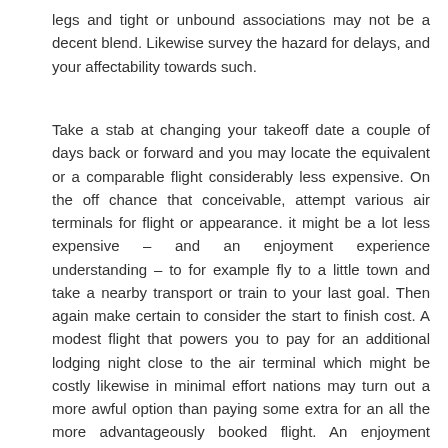legs and tight or unbound associations may not be a decent blend. Likewise survey the hazard for delays, and your affectability towards such.
Take a stab at changing your takeoff date a couple of days back or forward and you may locate the equivalent or a comparable flight considerably less expensive. On the off chance that conceivable, attempt various air terminals for flight or appearance. it might be a lot less expensive – and an enjoyment experience understanding – to for example fly to a little town and take a nearby transport or train to your last goal. Then again make certain to consider the start to finish cost. A modest flight that powers you to pay for an additional lodging night close to the air terminal which might be costly likewise in minimal effort nations may turn out a more awful option than paying some extra for an all the more advantageously booked flight. An enjoyment experience maybe, however with a potential extra expense of a missed conveyance and an annoyed ex-customer. For inn appointments we generally use expedient, they appear to offer the best costs and their audit framework makes it simple to discover great settlement at a sensible cost. In any case,